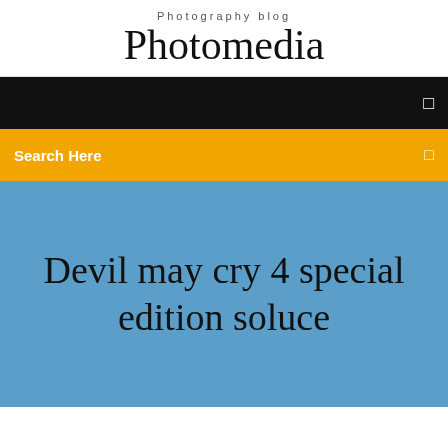Photography blog
Photomedia
[Figure (screenshot): Black navigation bar with a small white icon on the right]
[Figure (screenshot): Yellow/amber search bar with 'Search Here' label in white on the left and a white icon on the right]
Devil may cry 4 special edition soluce